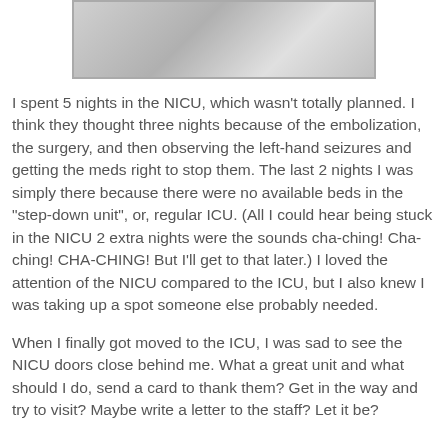[Figure (photo): Photo of a patient in a hospital bed, partially visible at the top of the page, covered with white sheets/bedding.]
I spent 5 nights in the NICU, which wasn't totally planned.  I think they thought three nights because of the embolization, the surgery, and then observing the left-hand seizures and getting the meds right to stop them.  The last 2 nights I was simply there because there were no available beds in the "step-down unit", or, regular ICU.  (All I could hear being stuck in the NICU 2 extra nights were the sounds cha-ching! Cha-ching! CHA-CHING! But I'll get to that later.)  I loved the attention of the NICU compared to the ICU, but I also knew I was taking up a spot someone else probably needed.
When I finally got moved to the ICU, I was sad to see the NICU doors close behind me.  What a great unit and what should I do, send a card to thank them? Get in the way and try to visit? Maybe write a letter to the staff? Let it be?